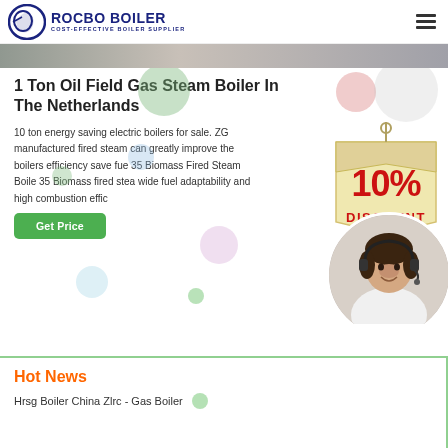ROCBO BOILER - COST-EFFECTIVE BOILER SUPPLIER
[Figure (photo): Partial hero/banner image at top of page]
1 Ton Oil Field Gas Steam Boiler In The Netherlands
10 ton energy saving electric boilers for sale. ZG manufactured fired steam can greatly improve the boilers efficiency save fue 35 Biomass Fired Steam Boile 35 Biomass fired stea wide fuel adaptability and high combustion effic
[Figure (infographic): 10% Discount badge/sticker in red and tan]
[Figure (photo): Customer service representative with headset, circular crop]
Hot News
Hrsg Boiler China Zlrc - Gas Boiler